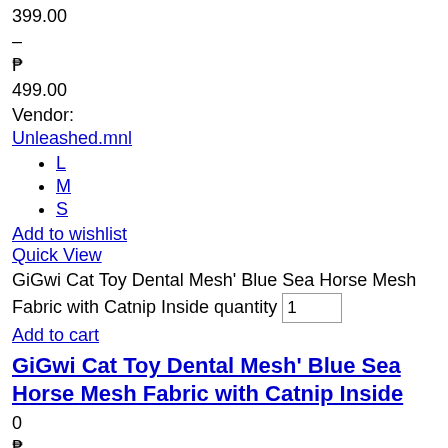399.00
–
₱
499.00
Vendor:
Unleashed.mnl
L
M
S
Add to wishlist
Quick View
GiGwi Cat Toy Dental Mesh' Blue Sea Horse Mesh Fabric with Catnip Inside quantity 1
Add to cart
GiGwi Cat Toy Dental Mesh' Blue Sea Horse Mesh Fabric with Catnip Inside
0
₱
260.00
Vendor:
Paw & Purr